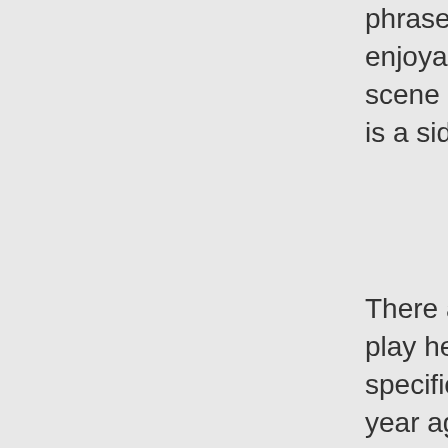phrase, I just find the juxtaposition of day-to-da enjoyable, both erotically and otherwise. That scene spaces and vanilla spaces very, very blu is a side effect rather than a direct effect of how
There are, however, certain things we have do play headspaces for longer periods of time. So specific, and others are again blurry, as above. year ago, Eileen bought me a rather heavy loc When it goes on me, I know she wants to play. a lot longer than the scenes last, and this helps emotions around after the beating is through. W sometimes she uses the collar and some of ou me to the bed for the night to the same effect.
Being leashed or hitched is also a way to active headspace, and is also something that often ca